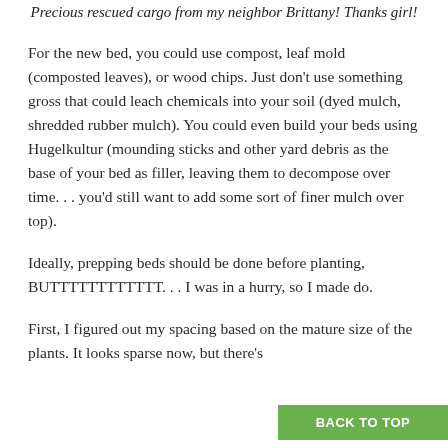Precious rescued cargo from my neighbor Brittany! Thanks girl!
For the new bed, you could use compost, leaf mold (composted leaves), or wood chips. Just don't use something gross that could leach chemicals into your soil (dyed mulch, shredded rubber mulch). You could even build your beds using Hugelkultur (mounding sticks and other yard debris as the base of your bed as filler, leaving them to decompose over time. . . you'd still want to add some sort of finer mulch over top).
Ideally, prepping beds should be done before planting, BUTTTTTTTTTTTT. . . I was in a hurry, so I made do.
First, I figured out my spacing based on the mature size of the plants. It looks sparse now, but there's